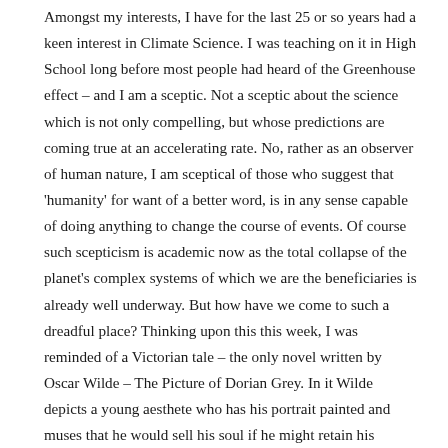Amongst my interests, I have for the last 25 or so years had a keen interest in Climate Science. I was teaching on it in High School long before most people had heard of the Greenhouse effect – and I am a sceptic. Not a sceptic about the science which is not only compelling, but whose predictions are coming true at an accelerating rate. No, rather as an observer of human nature, I am sceptical of those who suggest that 'humanity' for want of a better word, is in any sense capable of doing anything to change the course of events. Of course such scepticism is academic now as the total collapse of the planet's complex systems of which we are the beneficiaries is already well underway. But how have we come to such a dreadful place? Thinking upon this this week, I was reminded of a Victorian tale – the only novel written by Oscar Wilde – The Picture of Dorian Grey. In it Wilde depicts a young aesthete who has his portrait painted and muses that he would sell his soul if he might retain his youthful beauty and the painting age in his place. Well that of course is what happens. Grey hides the painting in his attic and embarks on an increasingly debauched hedonistic life, not denying himself any of life's 'pleasures'